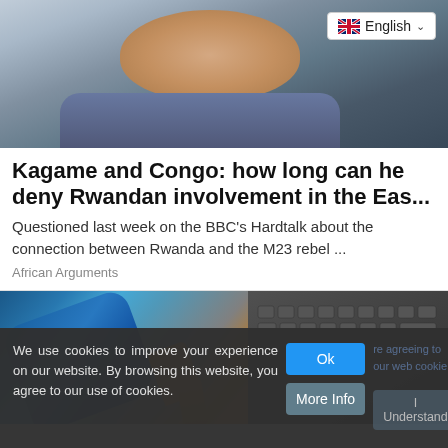[Figure (photo): Cropped photo of a person smiling, wearing a suit, with a UK flag English language selector badge in the top-right corner]
Kagame and Congo: how long can he deny Rwandan involvement in the Eas...
Questioned last week on the BBC's Hardtalk about the connection between Rwanda and the M23 rebel ...
African Arguments
[Figure (photo): Photo of a blue bottle pouring golden motor oil over an engine or mechanical parts]
We use cookies to improve your experience on our website. By browsing this website, you agree to our use of cookies.